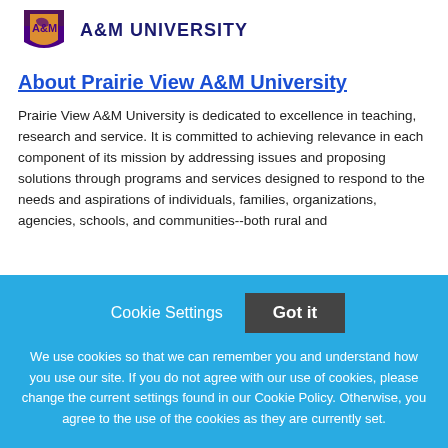[Figure (logo): Prairie View A&M University logo with shield/crest in purple and gold, with text 'A&M UNIVERSITY' to the right]
About Prairie View A&M University
Prairie View A&M University is dedicated to excellence in teaching, research and service. It is committed to achieving relevance in each component of its mission by addressing issues and proposing solutions through programs and services designed to respond to the needs and aspirations of individuals, families, organizations, agencies, schools, and communities--both rural and
Cookie Settings  Got it
We use cookies so that we can remember you and understand how you use our site. If you do not agree with our use of cookies, please change the current settings found in our Cookie Policy. Otherwise, you agree to the use of the cookies as they are currently set.